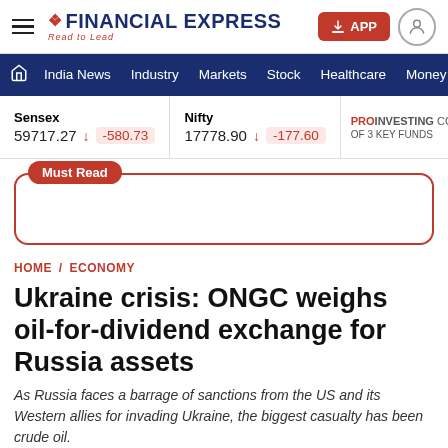Financial Express — Read to Lead
India News  Industry  Markets  Stock  Healthcare  Money
Sensex 59717.27 ▼ -580.73  Nifty 17778.90 ▼ -177.60  PROINVESTING COMBO OF 3 KEY FUNDS
Must Read
HOME / ECONOMY
Ukraine crisis: ONGC weighs oil-for-dividend exchange for Russia assets
As Russia faces a barrage of sanctions from the US and its Western allies for invading Ukraine, the biggest casualty has been crude oil.
ADVERTISEMENT